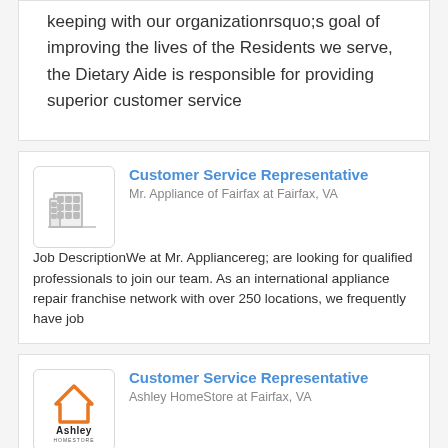keeping with our organizationrsquo;s goal of improving the lives of the Residents we serve, the Dietary Aide is responsible for providing superior customer service
Customer Service Representative
Mr. Appliance of Fairfax at Fairfax, VA
Job DescriptionWe at Mr. Appliancereg; are looking for qualified professionals to join our team. As an international appliance repair franchise network with over 250 locations, we frequently have job
Customer Service Representative
Ashley HomeStore at Fairfax, VA
Job DescriptionEvery career needs a home. Find yours at Ashley Home Store in Fairfax, Va. Customer Service Representative, Ashl…